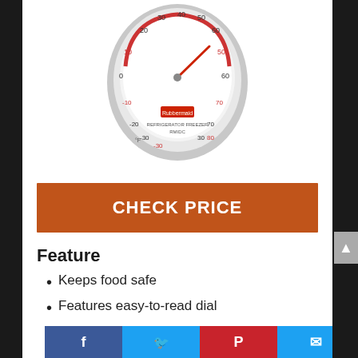[Figure (photo): Rubbermaid refrigerator/freezer thermometer with analog dial, stainless steel casing, red needle, on a white stand]
CHECK PRICE
Feature
Keeps food safe
Features easy-to-read dial